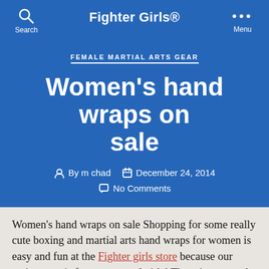Fighter Girls®
FEMALE MARTIAL ARTS GEAR
Women's hand wraps on sale
By m chad  December 24, 2014  No Comments
Women's hand wraps on sale Shopping for some really cute boxing and martial arts hand wraps for women is easy and fun at the Fighter girls store because our entire store is for women and girls! There is not much of a